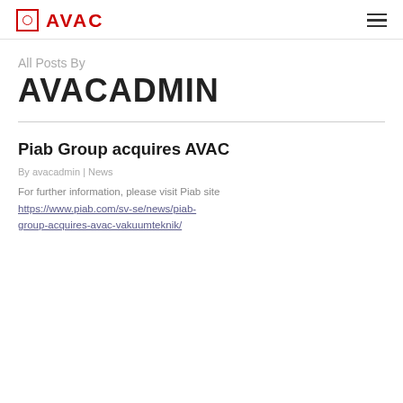AVAC
All Posts By
AVACADMIN
Piab Group acquires AVAC
By avacadmin | News
For further information, please visit Piab site
https://www.piab.com/sv-se/news/piab-group-acquires-avac-vakuumteknik/